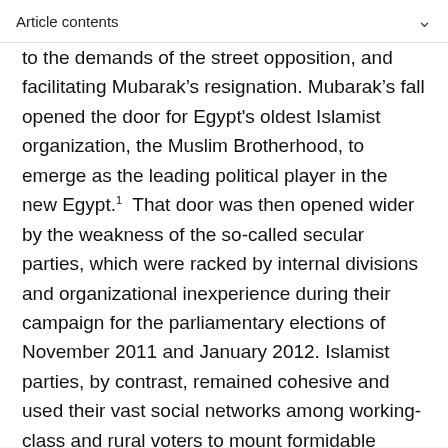Article contents
to the demands of the street opposition, and facilitating Mubarak's resignation. Mubarak's fall opened the door for Egypt's oldest Islamist organization, the Muslim Brotherhood, to emerge as the leading political player in the new Egypt.¹ That door was then opened wider by the weakness of the so-called secular parties, which were racked by internal divisions and organizational inexperience during their campaign for the parliamentary elections of November 2011 and January 2012. Islamist parties, by contrast, remained cohesive and used their vast social networks among working-class and rural voters to mount formidable campaign efforts. In the end, the Muslim Brotherhood's Freedom and Justice Party (FJP)² won nearly half of the available seats, while the ultraconservative (Salafist) al-Nour Party secured almost a quarter of the seats (BBC News